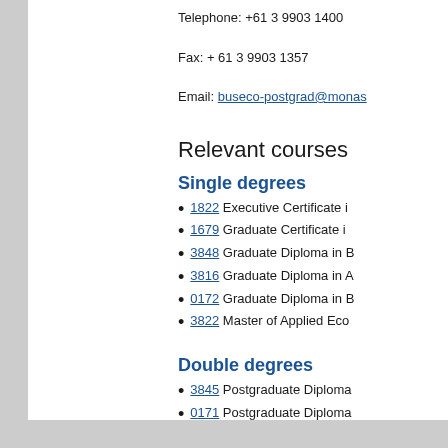Telephone: +61 3 9903 1400
Fax: + 61 3 9903 1357
Email: buseco-postgrad@monas…
Relevant courses
Single degrees
1822 Executive Certificate i…
1679 Graduate Certificate i…
3848 Graduate Diploma in B…
3816 Graduate Diploma in A…
0172 Graduate Diploma in B…
3822 Master of Applied Eco…
Double degrees
3845 Postgraduate Diploma…
0171 Postgraduate Diploma…
4412 Master of Applied Fina…